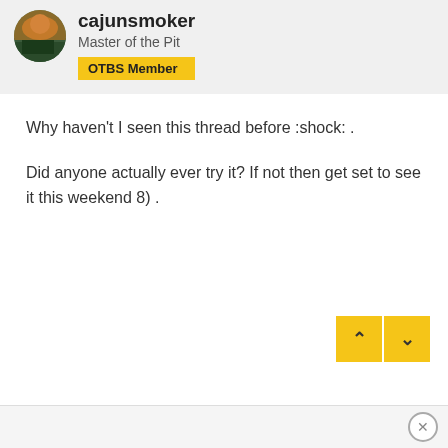cajunsmoker
Master of the Pit
OTBS Member
Why haven't I seen this thread before :shock: .
Did anyone actually ever try it? If not then get set to see it this weekend 8) .
[Figure (other): Navigation up/down arrow buttons in yellow]